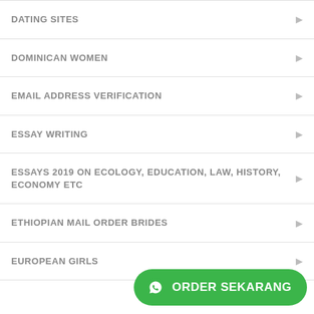DATING SITES
DOMINICAN WOMEN
EMAIL ADDRESS VERIFICATION
ESSAY WRITING
ESSAYS 2019 ON ECOLOGY, EDUCATION, LAW, HISTORY, ECONOMY ETC
ETHIOPIAN MAIL ORDER BRIDES
EUROPEAN GIRLS
[Figure (other): Green WhatsApp-style ORDER SEKARANG button overlay in bottom right corner]